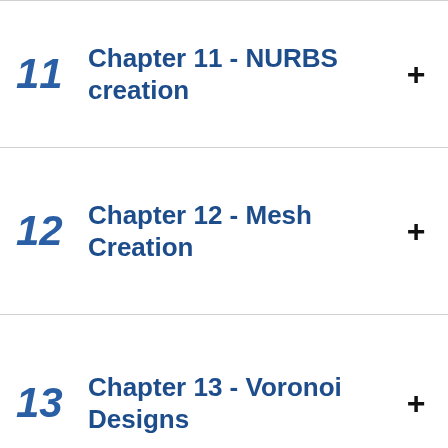11  Chapter 11 - NURBS creation  +
12  Chapter 12 - Mesh Creation  +
13  Chapter 13 - Voronoi Designs  +
14  +